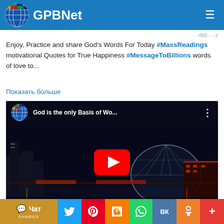GPBNet
Enjoy, Practice and share God's Words For Today #MassReadings motivational Quotes for True Happiness #MessageToBillions words of love to...
Показать больше
[Figure (screenshot): YouTube video thumbnail showing city skyline at night with Science World dome, YouTube play button overlay, and red text 'God - World Peace'. Video title: 'God is the only Basis of Wo...']
Чат | SHARES | Twitter | Pinterest | Blogger | WhatsApp | VK | OK | +